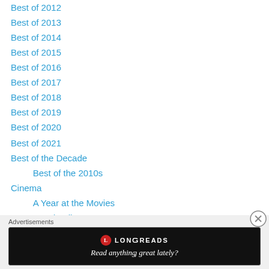Best of 2012
Best of 2013
Best of 2014
Best of 2015
Best of 2016
Best of 2017
Best of 2018
Best of 2019
Best of 2020
Best of 2021
Best of the Decade
Best of the 2010s
Cinema
A Year at the Movies
Best in Film 2011
Best in Film 2012
Best in Film 2013
Advertisements
[Figure (other): Longreads advertisement banner: logo with red circle L, brand name LONGREADS, tagline 'Read anything great lately?']